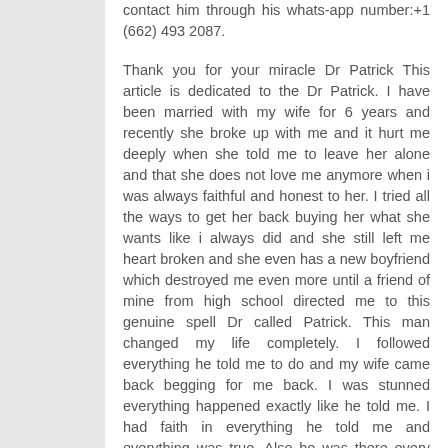contact him through his whats-app number:+1 (662) 493 2087.
Thank you for your miracle Dr Patrick This article is dedicated to the Dr Patrick. I have been married with my wife for 6 years and recently she broke up with me and it hurt me deeply when she told me to leave her alone and that she does not love me anymore when i was always faithful and honest to her. I tried all the ways to get her back buying her what she wants like i always did and she still left me heart broken and she even has a new boyfriend which destroyed me even more until a friend of mine from high school directed me to this genuine spell Dr called Patrick. This man changed my life completely. I followed everything he told me to do and my wife came back begging for me back. I was stunned everything happened exactly like he told me. I had faith in everything he told me and everything was true. Also he was there every moment until i got my happiness back and he also provides